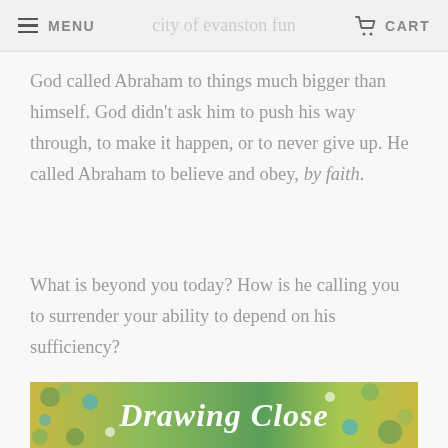MENU | CART
God called Abraham to things much bigger than himself. God didn’t ask him to push his way through, to make it happen, or to never give up. He called Abraham to believe and obey, by faith.
What is beyond you today? How is he calling you to surrender your ability to depend on his sufficiency?
[caption id="" align="alignnone" width="800.0"]
[Figure (photo): Partial view of a book cover titled 'Drawing Close' with a floral design on a yellow-green background with teal and white flowers]